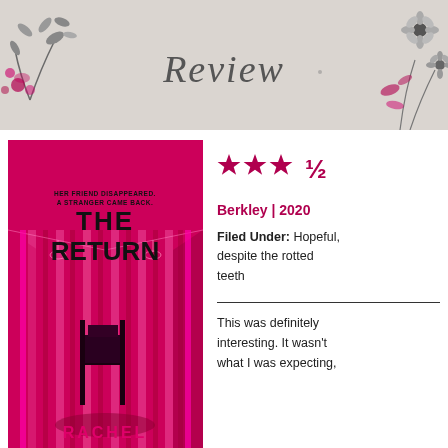[Figure (illustration): Banner header with floral decorations on left and right, cursive script reading 'Review' in the center, on a light gray textured background]
[Figure (photo): Book cover of 'The Return' by Rachel (Harris). Hot pink/magenta cover showing a striped room with a chair. Text: 'Her friend disappeared. A stranger came back.' Title: THE RETURN, Author: RACHEL]
[Figure (other): Star rating: 3 and a half stars out of 5, shown as filled magenta/pink stars with a half symbol]
Berkley | 2020
Filed Under: Hopeful, despite the rotted teeth
This was definitely interesting. It wasn't what I was expecting,